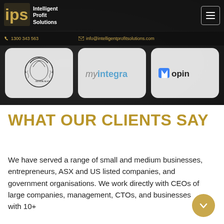Intelligent Profit Solutions | 1300 343 563 | info@intelligentprofitsolutions.com
[Figure (logo): Three client logos displayed in rounded white boxes: Australian Government coat of arms, myintegra, and hopin]
WHAT OUR CLIENTS SAY
We have served a range of small and medium businesses, entrepreneurs, ASX and US listed companies, and government organisations. We work directly with CEOs of large companies, management, CTOs, and businesses with 10+